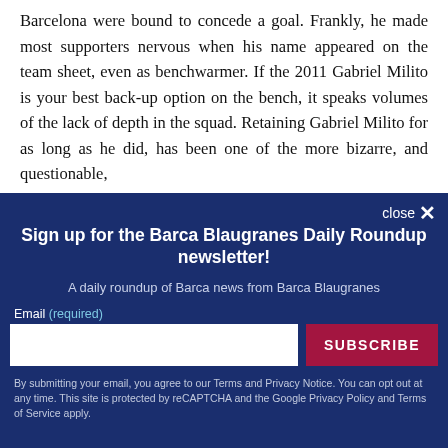Barcelona were bound to concede a goal. Frankly, he made most supporters nervous when his name appeared on the team sheet, even as benchwarmer. If the 2011 Gabriel Milito is your best back-up option on the bench, it speaks volumes of the lack of depth in the squad. Retaining Gabriel Milito for as long as he did, has been one of the more bizarre, and questionable,
[Figure (other): Newsletter signup overlay with dark blue background. Title: 'Sign up for the Barca Blaugranes Daily Roundup newsletter!'. Subtitle: 'A daily roundup of Barca news from Barca Blaugranes'. Email input field and SUBSCRIBE button. Disclaimer text about terms and privacy.]